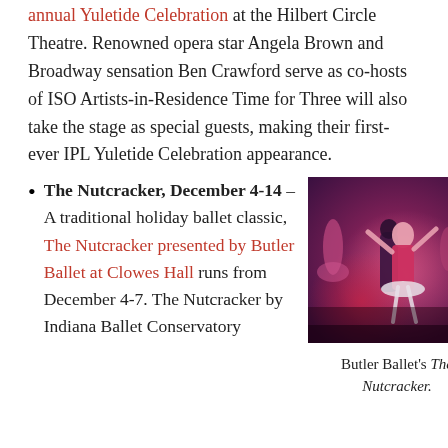Indianapolis Symphony Orchestra presents its 25th annual Yuletide Celebration at the Hilbert Circle Theatre. Renowned opera star Angela Brown and Broadway sensation Ben Crawford serve as co-hosts of ISO Artists-in-Residence Time for Three will also take the stage as special guests, making their first-ever IPL Yuletide Celebration appearance.
The Nutcracker, December 4-14 – A traditional holiday ballet classic, The Nutcracker presented by Butler Ballet at Clowes Hall runs from December 4-7. The Nutcracker by Indiana Ballet Conservatory
[Figure (photo): Ballet performance photo showing dancers on stage in red and white costumes, likely from The Nutcracker production by Butler Ballet.]
Butler Ballet's The Nutcracker.